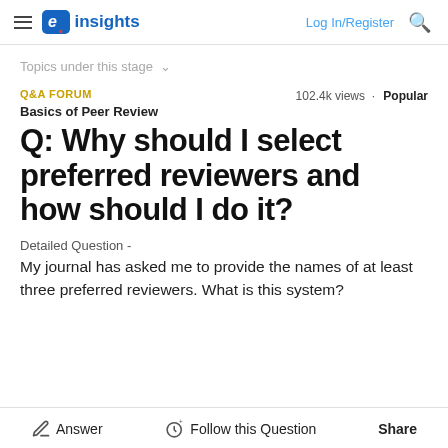e. insights  Log In/Register
Topics under this stage
Q&A FORUM
102.4k views · Popular
Basics of Peer Review
Q: Why should I select preferred reviewers and how should I do it?
Detailed Question -
My journal has asked me to provide the names of at least three preferred reviewers. What is this system?
Answer  Follow this Question  Share